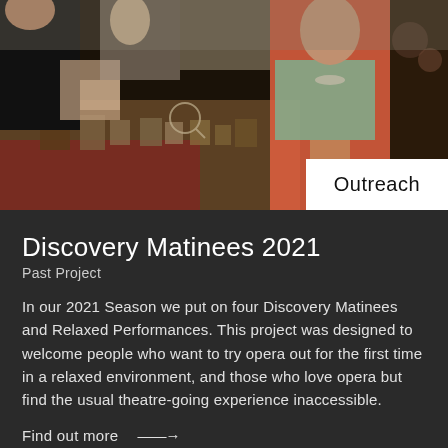[Figure (photo): People gathered around a table at an outreach event, examining historical artifacts and documents. A woman in an orange floral dress and teal scarf is visible in the center-right.]
Outreach
Discovery Matinees 2021
Past Project
In our 2021 Season we put on four Discovery Matinees and Relaxed Performances. This project was designed to welcome people who want to try opera out for the first time in a relaxed environment, and those who love opera but find the usual theatre-going experience inaccessible.
Find out more →